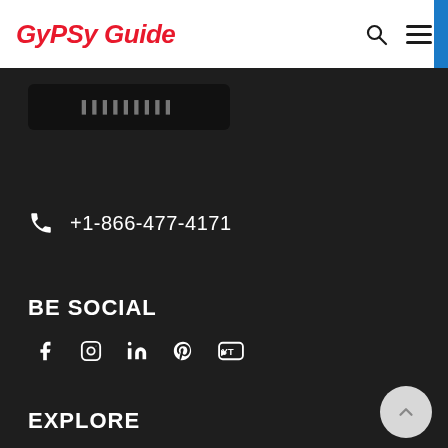GyPSy Guide
[Figure (screenshot): Partially visible app store download button on dark background]
+1-866-477-4171
BE SOCIAL
[Figure (infographic): Social media icons: Facebook, Instagram, LinkedIn, Pinterest, YouTube]
EXPLORE